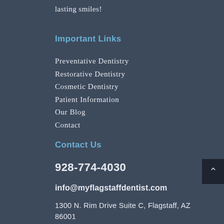lasting smiles!
Important Links
Preventative Dentistry
Restorative Dentistry
Cosmetic Dentistry
Patient Information
Our Blog
Contact
Contact Us
928-774-4030
info@myflagstaffdentist.com
1300 N. Rim Drive Suite C, Flagstaff, AZ 86001